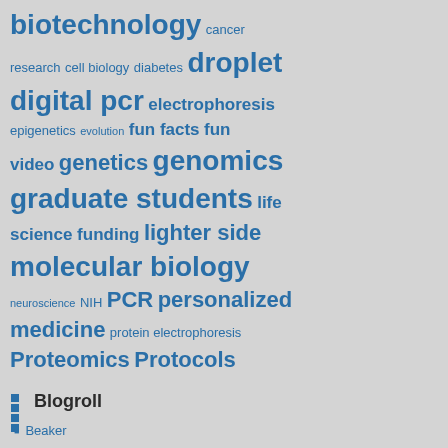[Figure (infographic): Word cloud with science/biology related terms in varying sizes in blue on grey background. Terms include: biotechnology, cancer, research, cell biology, diabetes, droplet, digital pcr, electrophoresis, epigenetics, evolution, fun facts, fun video, genetics, genomics, graduate students, life science funding, lighter side, molecular biology, neuroscience, NIH, PCR, personalized medicine, protein electrophoresis, Proteomics, Protocols, qPCR, Real-Time PCR, real time quantitative PCR, research funding, science, science and music, science education, science funding, sequestration, stem cell research, stem cells, thought-provoking, video, tools, video, western blotting]
Blogroll
Beaker